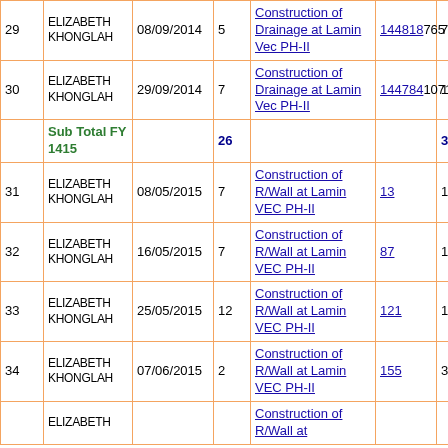| No | Name | Date | Dur | Work Description | MB No | Amount | Rej |
| --- | --- | --- | --- | --- | --- | --- | --- |
| 29 | ELIZABETH KHONGLAH | 08/09/2014 | 5 | Construction of Drainage at Lamin Vec PH-II | 144818 | 765 | 0 |
| 30 | ELIZABETH KHONGLAH | 29/09/2014 | 7 | Construction of Drainage at Lamin Vec PH-II | 144784 | 1071 | 0 |
| Sub Total FY 1415 |  |  | 26 |  |  | 3978 | 0 |
| 31 | ELIZABETH KHONGLAH | 08/05/2015 | 7 | Construction of R/Wall at Lamin VEC PH-II | 13 | 1141 | 0 |
| 32 | ELIZABETH KHONGLAH | 16/05/2015 | 7 | Construction of R/Wall at Lamin VEC PH-II | 87 | 1141 | 0 |
| 33 | ELIZABETH KHONGLAH | 25/05/2015 | 12 | Construction of R/Wall at Lamin VEC PH-II | 121 | 1956 | 0 |
| 34 | ELIZABETH KHONGLAH | 07/06/2015 | 2 | Construction of R/Wall at Lamin VEC PH-II | 155 | 326 | 0 |
| 35 | ELIZABETH |  |  | Construction of R/Wall at |  |  |  |